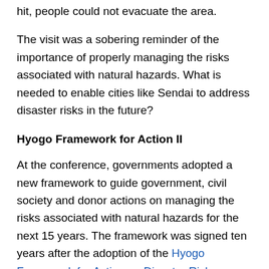hit, people could not evacuate the area.
The visit was a sobering reminder of the importance of properly managing the risks associated with natural hazards. What is needed to enable cities like Sendai to address disaster risks in the future?
Hyogo Framework for Action II
At the conference, governments adopted a new framework to guide government, civil society and donor actions on managing the risks associated with natural hazards for the next 15 years. The framework was signed ten years after the adoption of the Hyogo Framework for Action on Disaster Risk Reduction.
While the new framework includes many different ways